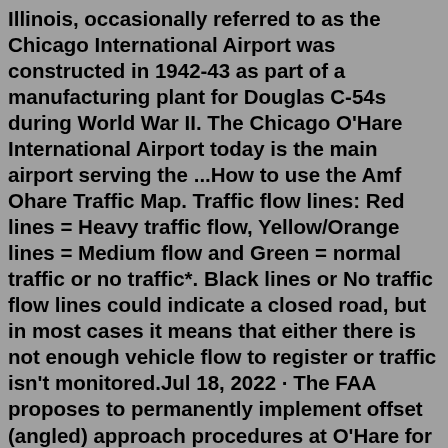Illinois, occasionally referred to as the Chicago International Airport was constructed in 1942-43 as part of a manufacturing plant for Douglas C-54s during World War II. The Chicago O'Hare International Airport today is the main airport serving the ...How to use the Amf Ohare Traffic Map. Traffic flow lines: Red lines = Heavy traffic flow, Yellow/Orange lines = Medium flow and Green = normal traffic or no traffic*. Black lines or No traffic flow lines could indicate a closed road, but in most cases it means that either there is not enough vehicle flow to register or traffic isn't monitored.Jul 18, 2022 · The FAA proposes to permanently implement offset (angled) approach procedures at O'Hare for Runway 10R/28L that were temporarily approved in the 2015 Written Re-Evaluation for the O'Hare Modernization Environmental Impact Statement. This livestream started on July 1st, 2021 8 a.m. Chicago time. Please SUBSCRIBE, click on the notification bell and choose "All notifications", this way you ... According to a recent USAT the article there was no allocating most